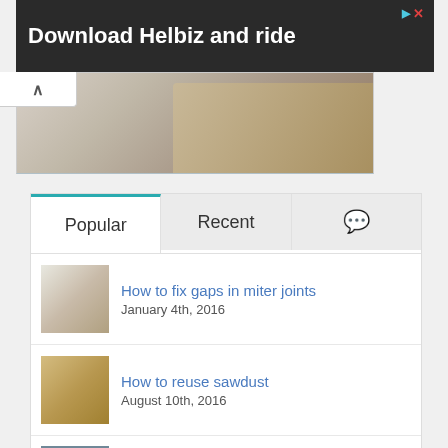[Figure (photo): Advertisement banner with dark background showing scooter handlebars and text 'Download Helbiz and ride']
[Figure (photo): Partial image of documents/newspapers below the ad banner]
Popular
Recent
How to fix gaps in miter joints
January 4th, 2016
How to reuse sawdust
August 10th, 2016
How to buy kitchen appliances